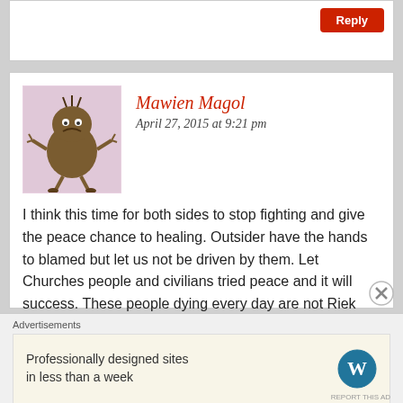Reply
[Figure (illustration): Cartoon avatar of a brown creature with a grumpy face, stick-like arms and legs, on a pink/lavender background]
Mawien Magol
April 27, 2015 at 9:21 pm
I think this time for both sides to stop fighting and give the peace chance to healing. Outsider have the hands to blamed but let us not be driven by them. Let Churches people and civilians tried peace and it will success. These people dying every day are not Riek Machar’s family nor Salva Kiir’s children but they are all Southern Sudanese citizens.
Advertisements
Professionally designed sites in less than a week